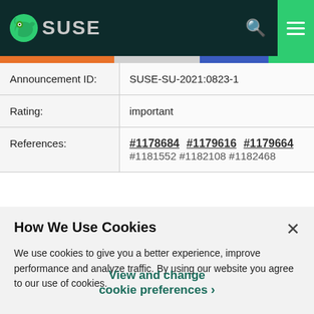SUSE
| Announcement ID: | SUSE-SU-2021:0823-1 |
| Rating: | important |
| References: | #1178684 #1179616 #1179664 #1181552 #1182108 #1182468 |
How We Use Cookies
We use cookies to give you a better experience, improve performance and analyze traffic. By using our website you agree to our use of cookies.
View and change cookie preferences >